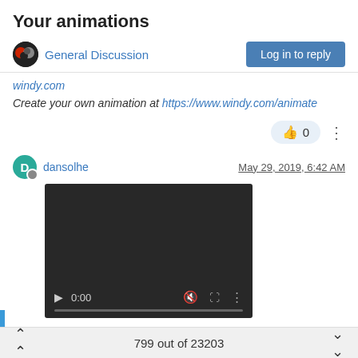Your animations
General Discussion | Log in to reply
windy.com
Create your own animation at https://www.windy.com/animate
dansolhe  May 29, 2019, 6:42 AM
[Figure (screenshot): Embedded video player showing time 0:00 with play button, mute icon, fullscreen icon, and more options. Progress bar at bottom.]
799 out of 23203